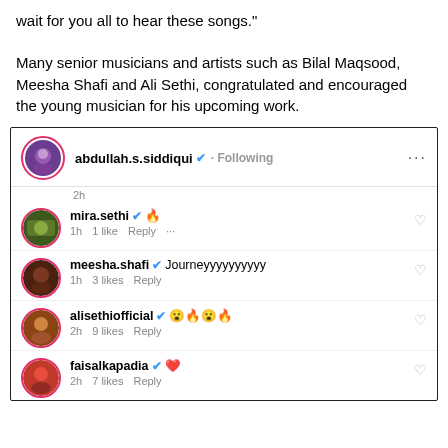wait for you all to hear these songs."
Many senior musicians and artists such as Bilal Maqsood, Meesha Shafi and Ali Sethi, congratulated and encouraged the young musician for his upcoming work.
[Figure (screenshot): Instagram comments screenshot showing: abdullah.s.siddiqui (verified, Following); mira.sethi (verified, fire emoji, 1h, 1 like, Reply); meesha.shafi (verified, Journeyyyyyyyyyy, 1h, 3 likes, Reply); alisethiofficial (verified, emojis, 2h, 9 likes, Reply); faisalkapadia (verified, red heart emoji, 2h, 7 likes, Reply)]